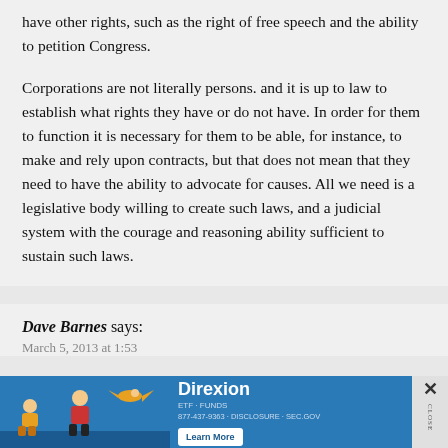have other rights, such as the right of free speech and the ability to petition Congress.
Corporations are not literally persons. and it is up to law to establish what rights they have or do not have. In order for them to function it is necessary for them to be able, for instance, to make and rely upon contracts, but that does not mean that they need to have the ability to advocate for causes. All we need is a legislative body willing to create such laws, and a judicial system with the courage and reasoning ability sufficient to sustain such laws.
Dave Barnes says:
[Figure (other): Advertisement banner for Direxion with blue background, illustrated characters, brand name, tagline, phone number, Learn More button, and close button]